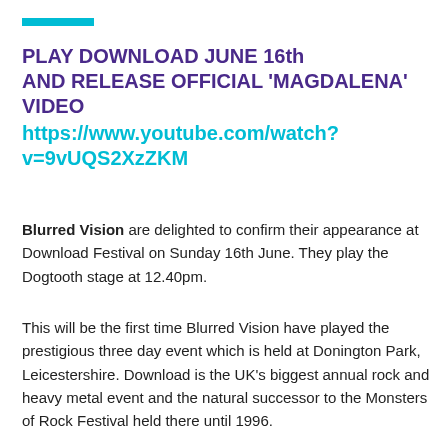[Figure (other): Cyan/teal horizontal bar decorative element at top left]
PLAY DOWNLOAD JUNE 16th AND RELEASE OFFICIAL ‘MAGDALENA’ VIDEO https://www.youtube.com/watch?v=9vUQS2XzZKM
Blurred Vision are delighted to confirm their appearance at Download Festival on Sunday 16th June. They play the Dogtooth stage at 12.40pm.
This will be the first time Blurred Vision have played the prestigious three day event which is held at Donington Park, Leicestershire. Download is the UK’s biggest annual rock and heavy metal event and the natural successor to the Monsters of Rock Festival held there until 1996.